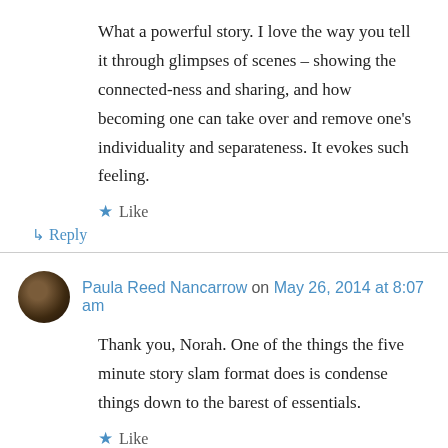What a powerful story. I love the way you tell it through glimpses of scenes – showing the connected-ness and sharing, and how becoming one can take over and remove one's individuality and separateness. It evokes such feeling.
★ Like
↳ Reply
Paula Reed Nancarrow on May 26, 2014 at 8:07 am
Thank you, Norah. One of the things the five minute story slam format does is condense things down to the barest of essentials.
★ Like
↳ Reply